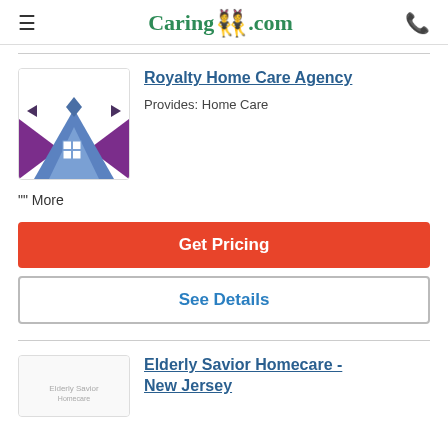Caring.com
[Figure (logo): Royalty Home Care Agency placeholder logo with geometric house shapes in blue and purple]
Royalty Home Care Agency
Provides: Home Care
"" More
Get Pricing
See Details
[Figure (logo): Elderly Savior Homecare logo partially visible]
Elderly Savior Homecare - New Jersey